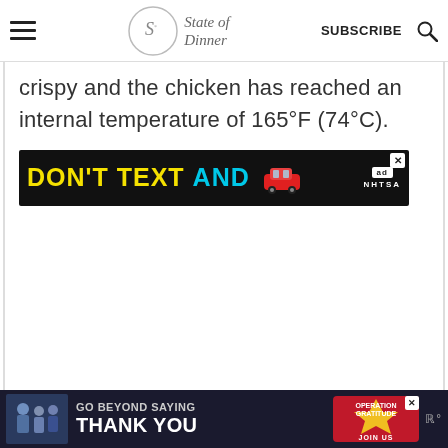State of Dinner — SUBSCRIBE
crispy and the chicken has reached an internal temperature of 165°F (74°C).
[Figure (infographic): DON'T TEXT AND [car emoji] ad banner by NHTSA with close button]
[Figure (infographic): GO BEYOND SAYING THANK YOU — Operation Gratitude JOIN US bottom sticky ad banner with people image and weather icon]